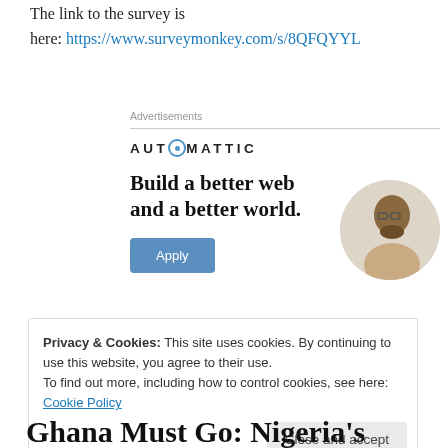The link to the survey is here: https://www.surveymonkey.com/s/8QFQYYL
[Figure (illustration): Automattic advertisement banner with logo, headline 'Build a better web and a better world.', an Apply button, and a circular photo of a person]
Privacy & Cookies: This site uses cookies. By continuing to use this website, you agree to their use. To find out more, including how to control cookies, see here: Cookie Policy
Ghana Must Go: Nigeria's